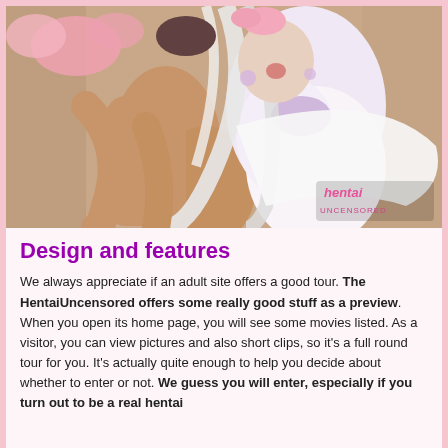[Figure (illustration): Anime-style illustration of two female characters in a suggestive pose, one with white/silver long hair wearing a light purple/white outfit and pink hair bow. A watermark reading 'hentai UNCENSORED' appears in the bottom right corner.]
Design and features
We always appreciate if an adult site offers a good tour. The HentaiUncensored offers some really good stuff as a preview. When you open its home page, you will see some movies listed. As a visitor, you can view pictures and also short clips, so it's a full round tour for you. It's actually quite enough to help you decide about whether to enter or not. We guess you will enter, especially if you turn out to be a real hentai